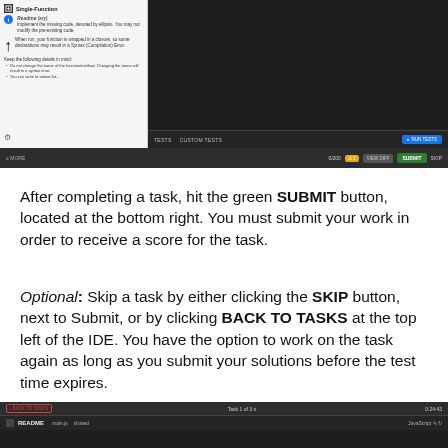[Figure (screenshot): Screenshot of a coding IDE showing a problem panel on the left with Single-Function heading, README section with instructions, and a dark editor area on the right. Bottom bar shows TESTS, CUSTOM TESTS tabs, 0/200 counter, a warning badge, VIEW DIFF, SUBMIT, and SKIP buttons. A RUN TESTS button appears on the right.]
After completing a task, hit the green SUBMIT button, located at the bottom right. You must submit your work in order to receive a score for the task.
Optional: Skip a task by either clicking the SKIP button, next to Submit, or by clicking BACK TO TASKS at the top left of the IDE. You have the option to work on the task again as long as you submit your solutions before the test time expires.
[Figure (screenshot): Screenshot of the bottom portion of a coding IDE showing a top navigation bar with a BACK TO TASKS button (outlined in red), Task 1 of 3 label in the center, and a 0:24:43 timer on the right. Below is a file tab bar showing README tab selected, main.js and other tabs, and JavaScript language indicator on the right.]